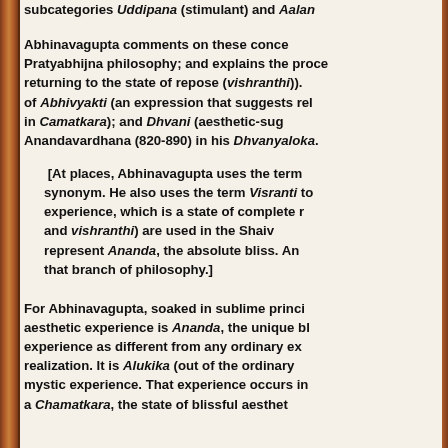subcategories Uddipana (stimulant) and Aalan...
Abhinavagupta comments on these concepts from the Pratyabhijna philosophy; and explains the process of returning to the state of repose (vishranthi)). He speaks of Abhivyakti (an expression that suggests release); Camatkara; and Dhvani (aesthetic-suggestion) of Anandavardhana (820-890) in his Dhvanyaloka.
[At places, Abhinavagupta uses the term ... as a synonym. He also uses the term Visranti to mean that experience, which is a state of complete repose. Visranti and vishranthi) are used in the Shaiva school to represent Ananda, the absolute bliss. And relates it to that branch of philosophy.]
For Abhinavagupta, soaked in sublime principles, the aesthetic experience is Ananda, the unique bliss. He views experience as different from any ordinary experience or realization. It is Alukika (out of the ordinary world) or mystic experience. That experience occurs in a flash; it is a Chamatkara, the state of blissful aesthetic...